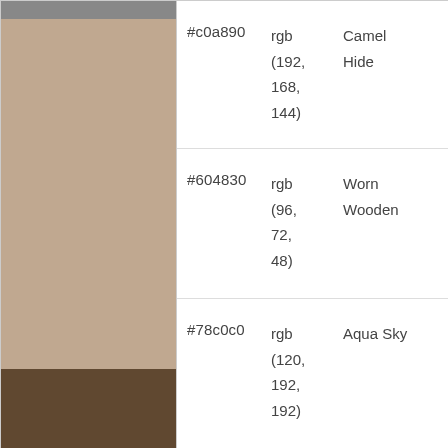| Hex | RGB | Name |
| --- | --- | --- |
| #c0a890 | rgb(192, 168, 144) | Camel Hide |
| #604830 | rgb(96, 72, 48) | Worn Wooden |
| #78c0c0 | rgb(120, 192, 192) | Aqua Sky |